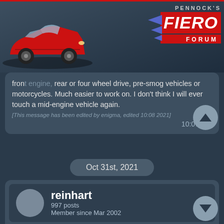[Figure (screenshot): Pennock's Fiero Forum header with red Fiero car illustration and logo]
front engine, rear or four wheel drive, pre-smog vehicles or motorcycles. Much easier to work on. I don't think I will ever touch a mid-engine vehicle again.
[This message has been edited by enigma, edited 10:08 2021]
10:07 AM
Oct 31st, 2021
reinhart
997 posts
Member since Mar 2002
quote
Originally posted by Dennis LaGrua:
Used may not last very long. You should be able to build a new one or repair one for far less than that. IMO, that price is really exorbitant.